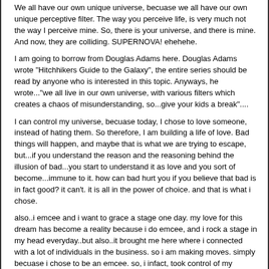We all have our own unique universe, becuase we all have our own unique perceptive filter. The way you perceive life, is very much not the way I perceive mine. So, there is your universe, and there is mine. And now, they are colliding. SUPERNOVA! ehehehe.
I am going to borrow from Douglas Adams here. Douglas Adams wrote "Hitchhikers Guide to the Galaxy", the entire series should be read by anyone who is interested in this topic. Anyways, he wrote..."we all live in our own universe, with various filters which creates a chaos of misunderstanding, so...give your kids a break"....
I can control my universe, becuase today, I chose to love someone, instead of hating them. So therefore, I am building a life of love. Bad things will happen, and maybe that is what we are trying to escape, but...if you understand the reason and the reasoning behind the illusion of bad...you start to understand it as love and you sort of become...immune to it. how can bad hurt you if you believe that bad is in fact good? it can't. it is all in the power of choice. and that is what i chose.
also..i emcee and i want to grace a stage one day. my love for this dream has become a reality because i do emcee, and i rock a stage in my head everyday..but also..it brought me here where i connected with a lot of individuals in the business. so i am making moves. simply becuase i chose to be an emcee. so, i infact, took control of my universe and said "i will emcee"..and i am getting closer to that stage, always and everyday, and that is my biggest personal passion. how is it, that after making that choice, i am connecting with producers and radio hosts, and other emcees? doens't it sound like i am controlling my universe?